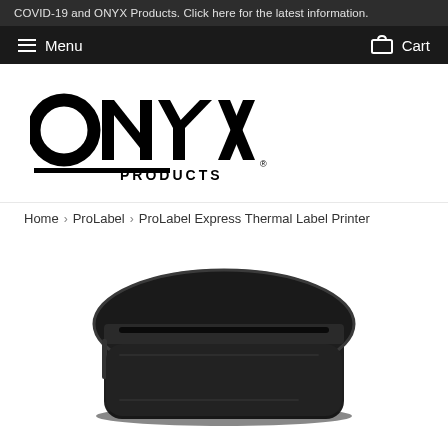COVID-19 and ONYX Products. Click here for the latest information.
Menu  Cart
[Figure (logo): ONYX Products logo in black, large bold uppercase letters with a horizontal line beneath and 'PRODUCTS' in smaller caps]
Home › ProLabel › ProLabel Express Thermal Label Printer
[Figure (photo): ProLabel Express Thermal Label Printer device, black handheld printer shown at an angle, partially cropped at bottom of page]